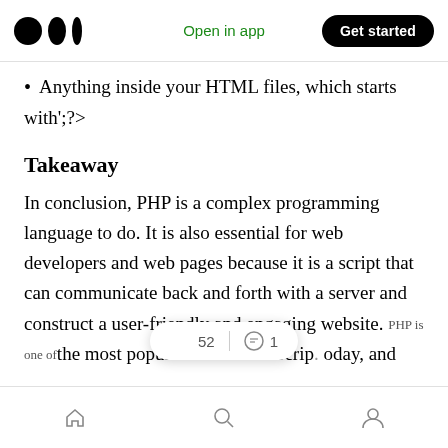Medium logo | Open in app | Get started
Anything inside your HTML files, which starts with';?>
Takeaway
In conclusion, PHP is a complex programming language to do. It is also essential for web developers and web pages because it is a script that can communicate back and forth with a server and construct a user-friendly and engaging website. PHP is one of the most popular server-side scrip... today, and
Home | Search | Profile